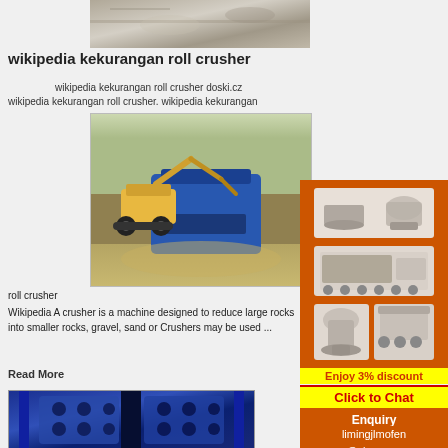[Figure (photo): Partial top image of rock/gravel material, cropped at top of page]
wikipedia kekurangan roll crusher
wikipedia kekurangan roll crusher doski.cz
wikipedia kekurangan roll crusher. wikipedia kekurangan
[Figure (photo): Excavator working with a mobile crusher/impact crusher at a quarry or demolition site]
roll crusher
Wikipedia A crusher is a machine designed to reduce large rocks into smaller rocks, gravel, sand or Crushers may be used ...
Read More
[Figure (photo): Blue jaw crusher machine, partial view from above]
[Figure (photo): Sidebar advertisement showing multiple mining/crushing machines in orange background]
Enjoy 3% discount
Click to Chat
Enquiry
limingjlmofen @sina.com